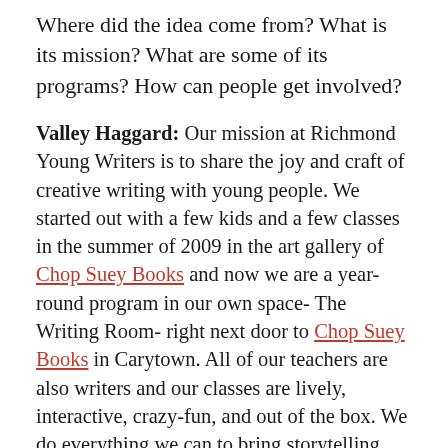Where did the idea come from? What is its mission? What are some of its programs? How can people get involved?
Valley Haggard: Our mission at Richmond Young Writers is to share the joy and craft of creative writing with young people. We started out with a few kids and a few classes in the summer of 2009 in the art gallery of Chop Suey Books and now we are a year-round program in our own space- The Writing Room- right next door to Chop Suey Books in Carytown. All of our teachers are also writers and our classes are lively, interactive, crazy-fun, and out of the box. We do everything we can to bring storytelling, poetry, fiction, movie-making, surrealism, and all types writing to life for kids outside of deadlines, grades, and all the pressure of perfectionism. We are always trying to spread the word